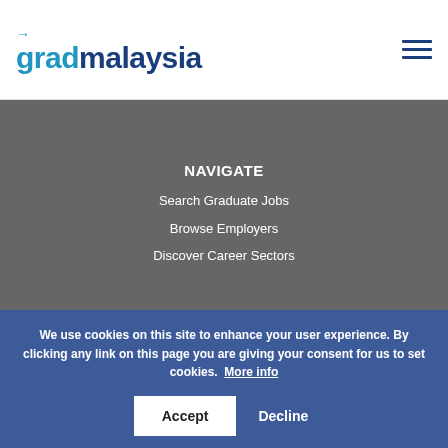gradmalaysia
NAVIGATE
Search Graduate Jobs
Browse Employers
Discover Career Sectors
We use cookies on this site to enhance your user experience. By clicking any link on this page you are giving your consent for us to set cookies. More info
Accept  Decline